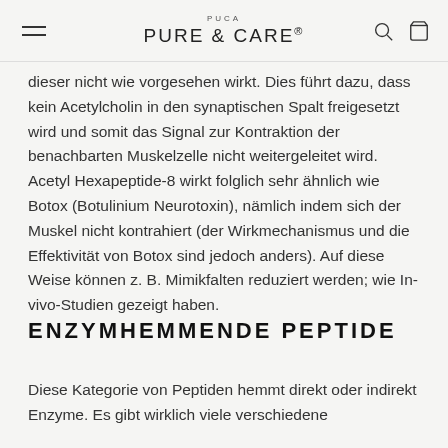PUCA PURE & CARE®
dieser nicht wie vorgesehen wirkt. Dies führt dazu, dass kein Acetylcholin in den synaptischen Spalt freigesetzt wird und somit das Signal zur Kontraktion der benachbarten Muskelzelle nicht weitergeleitet wird. Acetyl Hexapeptide-8 wirkt folglich sehr ähnlich wie Botox (Botulinium Neurotoxin), nämlich indem sich der Muskel nicht kontrahiert (der Wirkmechanismus und die Effektivität von Botox sind jedoch anders). Auf diese Weise können z. B. Mimikfalten reduziert werden; wie In-vivo-Studien gezeigt haben.
ENZYMHEMMENDE PEPTIDE
Diese Kategorie von Peptiden hemmt direkt oder indirekt Enzyme. Es gibt wirklich viele verschiedene